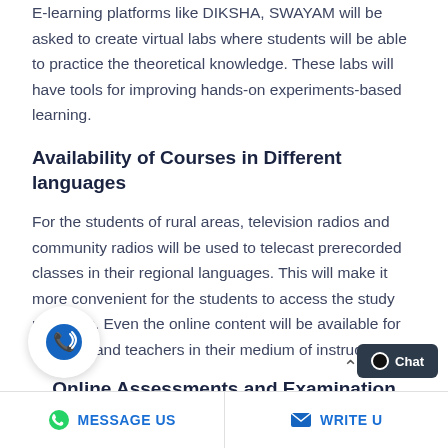E-learning platforms like DIKSHA, SWAYAM will be asked to create virtual labs where students will be able to practice the theoretical knowledge. These labs will have tools for improving hands-on experiments-based learning.
Availability of Courses in Different languages
For the students of rural areas, television radios and community radios will be used to telecast prerecorded classes in their regional languages. This will make it more convenient for the students to access the study materials. Even the online content will be available for students and teachers in their medium of instruction.
Online Assessments and Examination
...nework will be designed which will be based on century technology to examine the performance of th...
MESSAGE US   WRITE U...   Chat